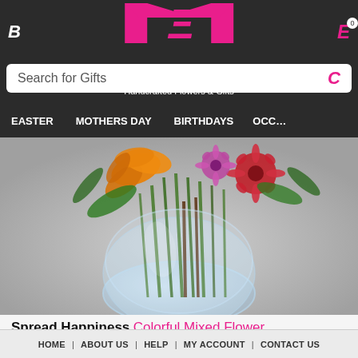B | Handcrafted Flowers & Gifts | E 0
Search for Gifts
EASTER | MOTHERS DAY | BIRTHDAYS | OCCO
[Figure (photo): Colorful mixed flower arrangement in a round glass vase with orange lilies, pink gerberas, and green stems visible through the vase]
Spread Happiness Colorful Mixed Flower Arrangement
★★★★☆
Add color to someones life with this arrangement that is so ...
HOME | ABOUT US | HELP | MY ACCOUNT | CONTACT US